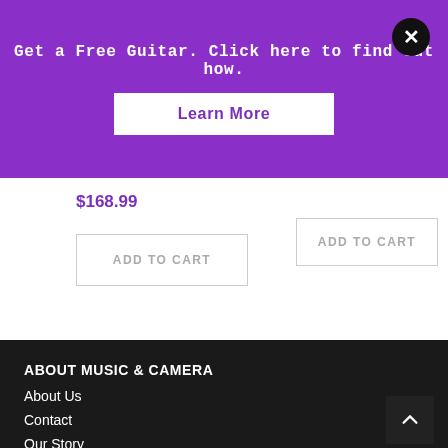Get a Free Guitar. Click here to find out how.
Learn More
$168.99
ADD TO CART
ADD TO CART
ABOUT MUSIC & CAMERA
About Us
Contact
Our Story
Store Update
Faq